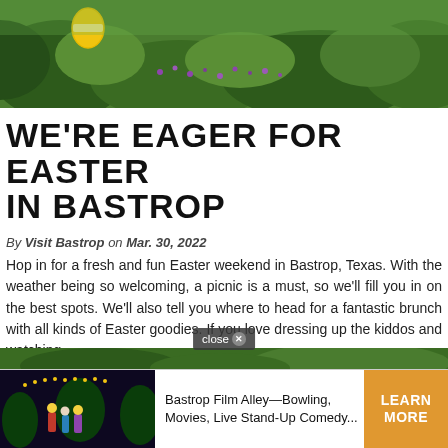[Figure (photo): Outdoor Easter egg hunt scene with yellow egg visible among green foliage and purple flowers]
WE'RE EAGER FOR EASTER IN BASTROP
By Visit Bastrop on Mar. 30, 2022
Hop in for a fresh and fun Easter weekend in Bastrop, Texas. With the weather being so welcoming, a picnic is a must, so we'll fill you in on the best spots. We'll also tell you where to head for a fantastic brunch with all kinds of Easter goodies. If you love dressing up the kiddos and watching...
Continue Reading →
[Figure (photo): Bastrop Film Alley advertisement banner with movie theater imagery, bowling and comedy events. Shows people in front of theater with 'Bastrop Film Alley—Bowling, Movies, Live Stand-Up Comedy...' text and LEARN MORE button]